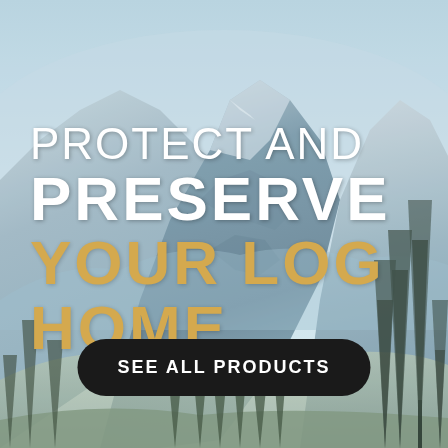[Figure (photo): Mountain landscape background with snow-capped rocky peaks, forested slopes with evergreen trees in foreground, pale blue sky. Natural wilderness scene.]
PROTECT AND PRESERVE YOUR LOG HOME
SEE ALL PRODUCTS